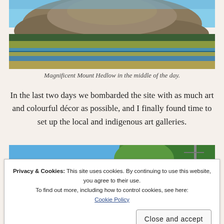[Figure (photo): Photograph of Magnificent Mount Hedlow in the middle of the day, showing the mountain with blue sky, vegetation at its base, and wetlands/marshes in the foreground with blue water.]
Magnificent Mount Hedlow in the middle of the day.
In the last two days we bombarded the site with as much art and colourful décor as possible, and I finally found time to set up the local and indigenous art galleries.
[Figure (photo): Partial photograph showing blue sky and a tree with green foliage.]
Privacy & Cookies: This site uses cookies. By continuing to use this website, you agree to their use.
To find out more, including how to control cookies, see here: Cookie Policy
Close and accept